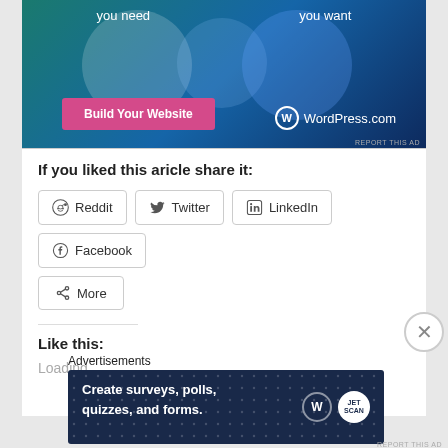[Figure (screenshot): WordPress.com advertisement banner showing overlapping circles with text 'you need' and 'you want', a pink 'Build Your Website' button, and WordPress.com logo on dark blue background.]
If you liked this aricle share it:
[Figure (screenshot): Social share buttons: Reddit, Twitter, LinkedIn, Facebook, and More]
Like this:
Loading...
Advertisements
[Figure (screenshot): WordPress.com / Jetpack advertisement: 'Create surveys, polls, quizzes, and forms.' with dark blue background and dot pattern.]